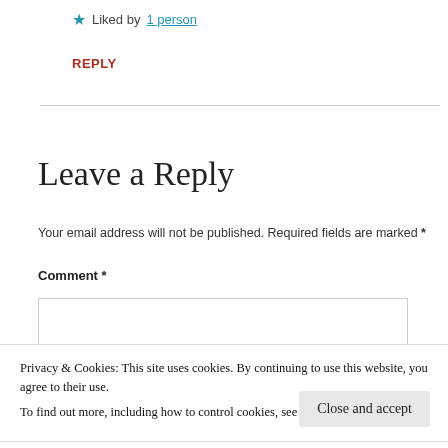★ Liked by 1 person
REPLY
Leave a Reply
Your email address will not be published. Required fields are marked *
Comment *
Privacy & Cookies: This site uses cookies. By continuing to use this website, you agree to their use. To find out more, including how to control cookies, see here: Cookie Policy
Close and accept